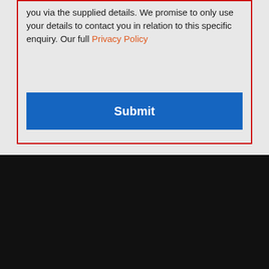you via the supplied details. We promise to only use your details to contact you in relation to this specific enquiry. Our full Privacy Policy
[Figure (other): Blue Submit button inside a red-bordered form box on a grey background]
[Figure (logo): SFM logo — white letters SFM on a red background with a glossy shine highlight, inside a dark border, on a black footer background]